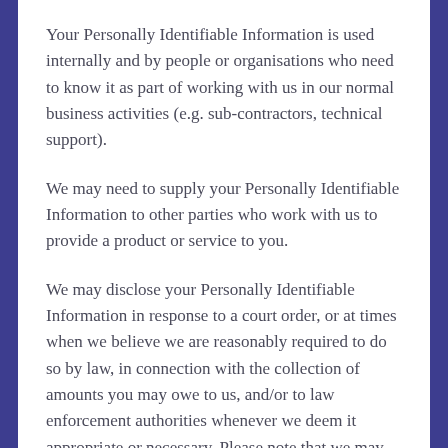Your Personally Identifiable Information is used internally and by people or organisations who need to know it as part of working with us in our normal business activities (e.g. sub-contractors, technical support).
We may need to supply your Personally Identifiable Information to other parties who work with us to provide a product or service to you.
We may disclose your Personally Identifiable Information in response to a court order, or at times when we believe we are reasonably required to do so by law, in connection with the collection of amounts you may owe to us, and/or to law enforcement authorities whenever we deem it appropriate or necessary. Please note that we may not provide you with notice prior to disclosure in such cases.